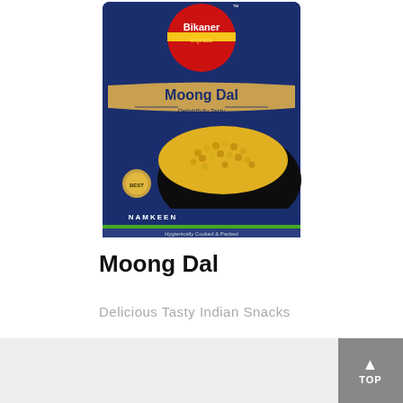[Figure (photo): Bikaner Express Moong Dal namkeen snack product package — dark navy blue bag with red circle logo at top, gold banner reading 'Moong Dal', subtitle 'Delightfully Tasty', pile of yellow fried moong dal lentils visible on front, gold quality seal badge, bottom stripe with 'NAMKEEN' and 'Hygienically Cooked & Packed']
Moong Dal
Delicious Tasty Indian Snacks